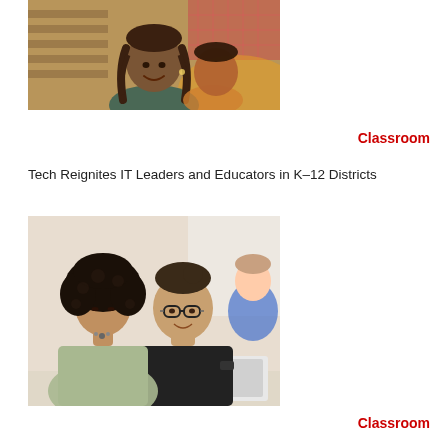[Figure (photo): Woman with braided hair smiling, colorful digital overlay background with orange and purple tones]
Classroom
Tech Reignites IT Leaders and Educators in K–12 Districts
[Figure (photo): Two students, a woman with curly hair and a man with glasses, looking at a laptop together in a bright room]
Classroom